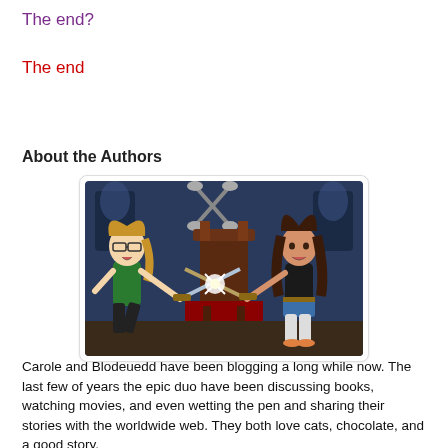The end?
The end
About the Authors
[Figure (illustration): Cartoon illustration of two women sword fighting in front of a throne. The woman on the left has blonde hair in a ponytail, glasses, and wears a green top. The woman on the right has long dark hair and wears a black top with blue shorts. They clash swords in the middle.]
Carole and Blodeuedd have been blogging a long while now. The last few of years the epic duo have been discussing books, watching movies, and even wetting the pen and sharing their stories with the worldwide web. They both love cats, chocolate, and a good story.